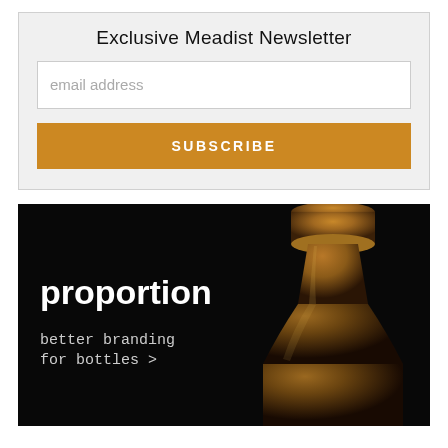Exclusive Meadist Newsletter
email address
SUBSCRIBE
[Figure (illustration): Dark background advertisement banner with a wine/mead bottle on the right side (showing golden neck/capsule), bold white text reading 'proportion' and monospace text 'better branding for bottles >']